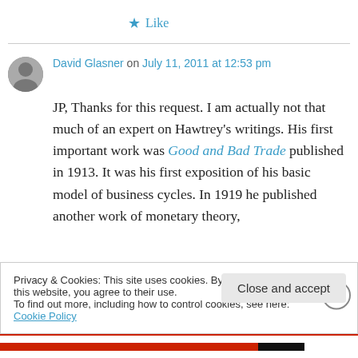★ Like
David Glasner on July 11, 2011 at 12:53 pm
JP, Thanks for this request. I am actually not that much of an expert on Hawtrey's writings. His first important work was Good and Bad Trade published in 1913. It was his first exposition of his basic model of business cycles. In 1919 he published another work of monetary theory,
Privacy & Cookies: This site uses cookies. By continuing to use this website, you agree to their use. To find out more, including how to control cookies, see here: Cookie Policy
Close and accept